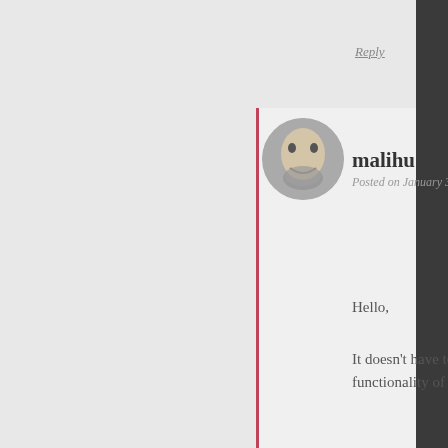Reply
[Figure (illustration): Circular avatar of malihu - a bearded man's face in grayscale sketch style]
malihu
Posted on January 31, 2015 at 0
Hello,
It doesn't have to do with Pag functionality of either your the
Reply
[Figure (illustration): Circular generic user avatar placeholder in light gray with silhouette person icon]
Pavan
Posted on January 31, 2
No It was not ike that b write some JS dynami removed after the unin
Reply